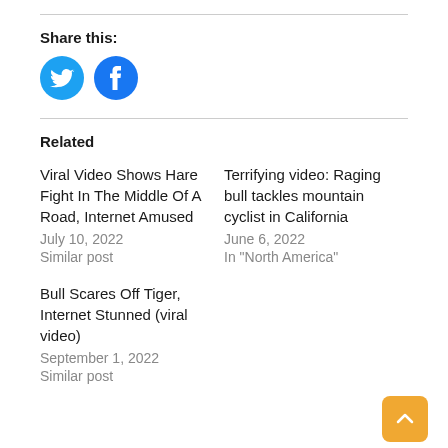Share this:
[Figure (illustration): Twitter bird icon (blue circle with white Twitter bird) and Facebook icon (blue circle with white lowercase f)]
Related
Viral Video Shows Hare Fight In The Middle Of A Road, Internet Amused
July 10, 2022
Similar post
Terrifying video: Raging bull tackles mountain cyclist in California
June 6, 2022
In "North America"
Bull Scares Off Tiger, Internet Stunned (viral video)
September 1, 2022
Similar post